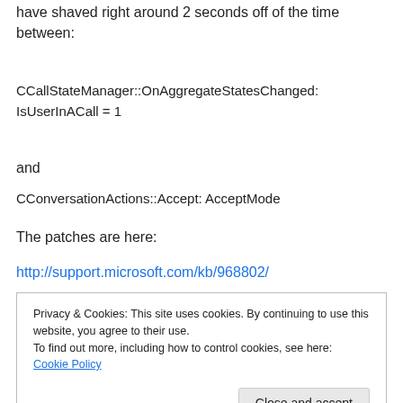have shaved right around 2 seconds off of the time between:
CCallStateManager::OnAggregateStatesChanged:
IsUserInACall = 1
and
CConversationActions::Accept: AcceptMode
The patches are here:
http://support.microsoft.com/kb/968802/
Privacy & Cookies: This site uses cookies. By continuing to use this website, you agree to their use.
To find out more, including how to control cookies, see here: Cookie Policy
[Close and accept]